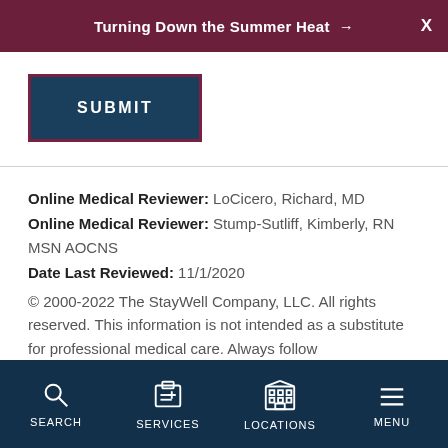Turning Down the Summer Heat →  X
[Figure (screenshot): SUBMIT button with dark teal background and dark red/maroon border]
Online Medical Reviewer: LoCicero, Richard, MD
Online Medical Reviewer: Stump-Sutliff, Kimberly, RN MSN AOCNS
Date Last Reviewed: 11/1/2020
© 2000-2022 The StayWell Company, LLC. All rights reserved. This information is not intended as a substitute for professional medical care. Always follow
SEARCH   SERVICES   LOCATIONS   MENU